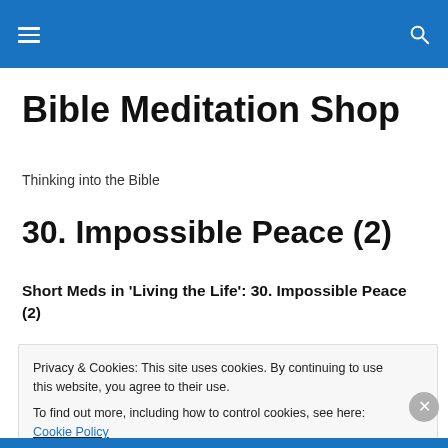Bible Meditation Shop [navigation bar]
Bible Meditation Shop
Thinking into the Bible
30. Impossible Peace (2)
Short Meds in 'Living the Life': 30. Impossible Peace (2)
Privacy & Cookies: This site uses cookies. By continuing to use this website, you agree to their use.
To find out more, including how to control cookies, see here: Cookie Policy
Close and accept